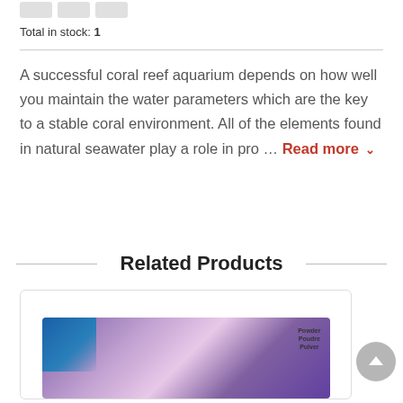Total in stock: 1
A successful coral reef aquarium depends on how well you maintain the water parameters which are the key to a stable coral environment. All of the elements found in natural seawater play a role in pro … Read more
Related Products
[Figure (photo): Product image of a coral supplement powder package with blue and purple packaging]